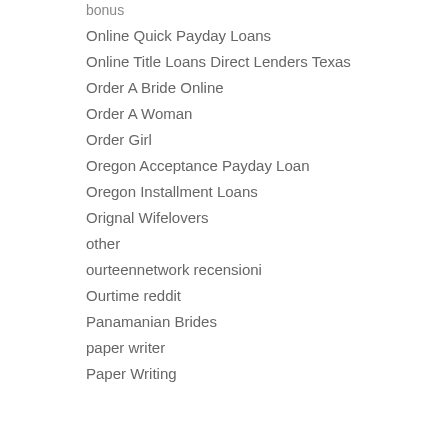bonus
Online Quick Payday Loans
Online Title Loans Direct Lenders Texas
Order A Bride Online
Order A Woman
Order Girl
Oregon Acceptance Payday Loan
Oregon Installment Loans
Orignal Wifelovers
other
ourteennetwork recensioni
Ourtime reddit
Panamanian Brides
paper writer
Paper Writing